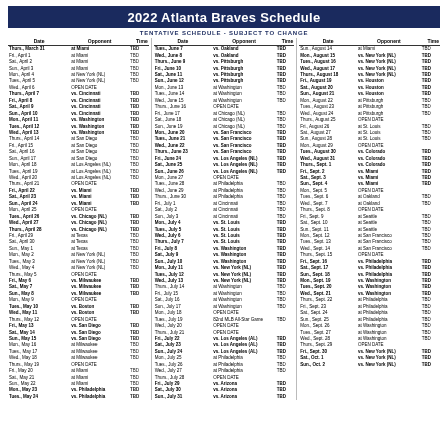2022 Atlanta Braves Schedule
TENTATIVE SCHEDULE - SUBJECT TO CHANGE
| Date | Opponent | Time | Date | Opponent | Time | Date | Opponent | Time |
| --- | --- | --- | --- | --- | --- | --- | --- | --- |
| Thurs., March 31 | at Miami | TBD | Tues., June 7 | vs. Oakland | TBD | Sun., August 14 | at Miami | TBD |
| Fri., April 1 | at Miami | TBD | Wed., June 8 | vs. Oakland | TBD | Mon., August 15 | vs. New York (NL) | TBD |
| Sat., April 2 | at Miami | TBD | Thurs., June 9 | vs. Pittsburgh | TBD | Tues., August 16 | vs. New York (NL) | TBD |
| Sun., April 3 | at Miami | TBD | Fri., June 10 | vs. Pittsburgh | TBD | Wed., August 17 | vs. New York (NL) | TBD |
| Mon., April 4 | at New York (NL) | TBD | Sat., June 11 | vs. Pittsburgh | TBD | Thurs., August 18 | vs. New York (NL) | TBD |
| Tues., April 5 | at New York (NL) | TBD | Sun., June 12 | vs. Pittsburgh | TBD | Fri., August 19 | vs. Houston | TBD |
| Wed., April 6 | OPEN DATE |  | Mon., June 13 | at Washington | TBD | Sat., August 20 | vs. Houston | TBD |
| Thurs., April 7 | vs. Cincinnati | TBD | Tues., June 14 | at Washington | TBD | Sun., August 21 | vs. Houston | TBD |
| Fri., April 8 | vs. Cincinnati | TBD | Wed., June 15 | at Washington | TBD | Mon., August 22 | at Pittsburgh | TBD |
| Sat., April 9 | vs. Cincinnati | TBD | Thurs., June 16 | OPEN DATE |  | Tues., August 23 | at Pittsburgh | TBD |
| Sun., April 10 | vs. Cincinnati | TBD | Fri., June 17 | at Chicago (NL) | TBD | Wed., August 24 | at Pittsburgh | TBD |
| Mon., April 11 | vs. Washington | TBD | Sat., June 18 | at Chicago (NL) | TBD | Thurs., August 25 | OPEN DATE |  |
| Tues., April 12 | vs. Washington | TBD | Sun., June 19 | at Chicago (NL) | TBD | Fri., August 26 | at St. Louis | TBD |
| Wed., April 13 | vs. Washington | TBD | Mon., June 20 | vs. San Francisco | TBD | Sat., August 27 | at St. Louis | TBD |
| Thurs., April 14 | at San Diego | TBD | Tues., June 21 | vs. San Francisco | TBD | Sun., August 28 | at St. Louis | TBD |
| Fri., April 15 | at San Diego | TBD | Wed., June 22 | vs. San Francisco | TBD | Mon., August 29 | OPEN DATE |  |
| Sat., April 16 | at San Diego | TBD | Thurs., June 23 | vs. San Francisco | TBD | Tues., August 30 | vs. Colorado | TBD |
| Sun., April 17 | at San Diego | TBD | Fri., June 24 | vs. Los Angeles (NL) | TBD | Wed., August 31 | vs. Colorado | TBD |
| Mon., April 18 | at Los Angeles (NL) | TBD | Sat., June 25 | vs. Los Angeles (NL) | TBD | Thurs., Sept. 1 | vs. Colorado | TBD |
| Tues., April 19 | at Los Angeles (NL) | TBD | Sun., June 26 | vs. Los Angeles (NL) | TBD | Fri., Sept. 2 | vs. Miami | TBD |
| Wed., April 20 | at Los Angeles (NL) | TBD | Mon., June 27 | OPEN DATE |  | Sat., Sept. 3 | vs. Miami | TBD |
| Thurs., April 21 | OPEN DATE |  | Tues., June 28 | at Philadelphia | TBD | Sun., Sept. 4 | vs. Miami | TBD |
| Fri., April 22 | vs. Miami | TBD | Wed., June 29 | at Philadelphia | TBD | Mon., Sept. 5 | OPEN DATE |  |
| Sat., April 23 | vs. Miami | TBD | Thurs., June 30 | at Philadelphia | TBD | Tues., Sept. 6 | at Oakland | TBD |
| Sun., April 24 | vs. Miami | TBD | Fri., July 1 | at Cincinnati | TBD | Wed., Sept. 7 | at Oakland | TBD |
| Mon., April 25 | OPEN DATE |  | Sat., July 2 | at Cincinnati | TBD | Thurs., Sept. 8 | OPEN DATE |  |
| Tues., April 26 | vs. Chicago (NL) | TBD | Sun., July 3 | at Cincinnati | TBD | Fri., Sept. 9 | at Seattle | TBD |
| Wed., April 27 | vs. Chicago (NL) | TBD | Mon., July 4 | vs. St. Louis | TBD | Sat., Sept. 10 | at Seattle | TBD |
| Thurs., April 28 | vs. Chicago (NL) | TBD | Tues., July 5 | vs. St. Louis | TBD | Sun., Sept. 11 | at Seattle | TBD |
| Fri., April 29 | at Texas | TBD | Wed., July 6 | vs. St. Louis | TBD | Mon., Sept. 12 | at San Francisco | TBD |
| Sat., April 30 | at Texas | TBD | Thurs., July 7 | vs. St. Louis | TBD | Tues., Sept. 13 | at San Francisco | TBD |
| Sun., May 1 | at Texas | TBD | Fri., July 8 | vs. Washington | TBD | Wed., Sept. 14 | at San Francisco | TBD |
| Mon., May 2 | at New York (NL) | TBD | Sat., July 9 | vs. Washington | TBD | Thurs., Sept. 15 | OPEN DATE |  |
| Tues., May 3 | at New York (NL) | TBD | Sun., July 10 | vs. Washington | TBD | Fri., Sept. 16 | vs. Philadelphia | TBD |
| Wed., May 4 | at New York (NL) | TBD | Mon., July 11 | vs. New York (NL) | TBD | Sat., Sept. 17 | vs. Philadelphia | TBD |
| Thurs., May 5 | OPEN DATE |  | Tues., July 12 | vs. New York (NL) | TBD | Sun., Sept. 18 | vs. Philadelphia | TBD |
| Fri., May 6 | vs. Milwaukee | TBD | Wed., July 13 | vs. New York (NL) | TBD | Mon., Sept. 19 | vs. Washington | TBD |
| Sat., May 7 | vs. Milwaukee | TBD | Thurs., July 14 | at Washington | TBD | Tues., Sept. 20 | vs. Washington | TBD |
| Sun., May 8 | vs. Milwaukee | TBD | Fri., July 15 | at Washington | TBD | Wed., Sept. 21 | vs. Washington | TBD |
| Mon., May 9 | OPEN DATE |  | Sat., July 16 | at Washington | TBD | Thurs., Sept. 22 | at Philadelphia | TBD |
| Tues., May 10 | vs. Boston | TBD | Sun., July 17 | at Washington | TBD | Fri., Sept. 23 | at Philadelphia | TBD |
| Wed., May 11 | vs. Boston | TBD | Mon., July 18 | OPEN DATE |  | Sat., Sept. 24 | at Philadelphia | TBD |
| Thurs., May 12 | OPEN DATE |  | Tues., July 19 | 82nd MLB All-Star Game | TBD | Sun., Sept. 25 | at Philadelphia | TBD |
| Fri., May 13 | vs. San Diego | TBD | Wed., July 20 | OPEN DATE |  | Mon., Sept. 26 | at Washington | TBD |
| Sat., May 14 | vs. San Diego | TBD | Thurs., July 21 | OPEN DATE |  | Tues., Sept. 27 | at Washington | TBD |
| Sun., May 15 | vs. San Diego | TBD | Fri., July 22 | vs. Los Angeles (AL) | TBD | Wed., Sept. 28 | at Washington | TBD |
| Mon., May 16 | at Milwaukee | TBD | Sat., July 23 | vs. Los Angeles (AL) | TBD | Thurs., Sept. 29 | OPEN DATE |  |
| Tues., May 17 | at Milwaukee | TBD | Sun., July 24 | vs. Los Angeles (AL) | TBD | Fri., Sept. 30 | vs. New York (NL) | TBD |
| Wed., May 18 | at Milwaukee | TBD | Mon., July 25 | at Philadelphia | TBD | Sat., Oct. 1 | vs. New York (NL) | TBD |
| Thurs., May 19 | OPEN DATE |  | Tues., July 26 | at Philadelphia | TBD | Sun., Oct. 2 | vs. New York (NL) | TBD |
| Fri., May 20 | at Miami | TBD | Wed., July 27 | at Philadelphia | TBD |  |  |  |
| Sat., May 21 | at Miami | TBD | Thurs., July 28 | OPEN DATE |  |  |  |  |
| Sun., May 22 | at Miami | TBD | Fri., July 29 | vs. Arizona | TBD |  |  |  |
| Mon., May 23 | vs. Philadelphia | TBD | Sat., July 30 | vs. Arizona | TBD |  |  |  |
| Tues., May 24 | vs. Philadelphia | TBD | Sun., July 31 | vs. Arizona | TBD |  |  |  |